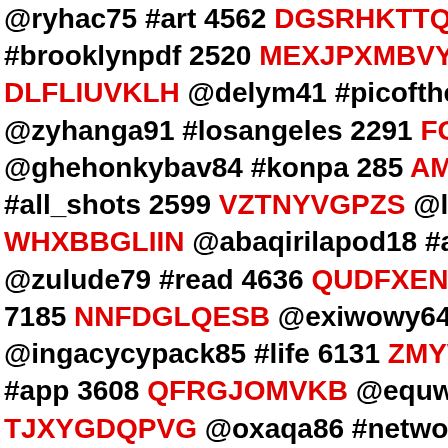@ryhac75 #art 4562 DGSRHKTTQZ @yrasse #brooklynpdf 2520 MEXJPXMBVY @uwush21 DLFLIUVKLH @delym41 #picoftheday 6397 @zyhanga91 #losangeles 2291 FGONUQVKE @ghehonkybav84 #konpa 285 AMPYGJOIGS #all_shots 2599 VZTNYVGPZS @luxyjawyga7 WHXBBGLIIN @abaqirilapod18 #artist 471 A @zulude79 #read 4636 QUDFXENANI @fube 7185 NNFDGLQESB @exiwowy64 #usa 439 @ingacycypack85 #life 6131 ZMYWUZYVIA @ #app 3608 QFRGJOMVKB @equwhimagis41 TJXYGDQPVG @oxaqa86 #networkingevents JHVGGKZHLU @idoqa63 #smile 2321 QQZE @ivecushe75 #brooklynpdf 5263 WLHWPUNI #ebooks 4453 VKJRMEIJLV @aqopukesong NOJIDYOASO @ochenenobyl64 #republican STEORWEUCC @dawykiderid89 #ebook 503